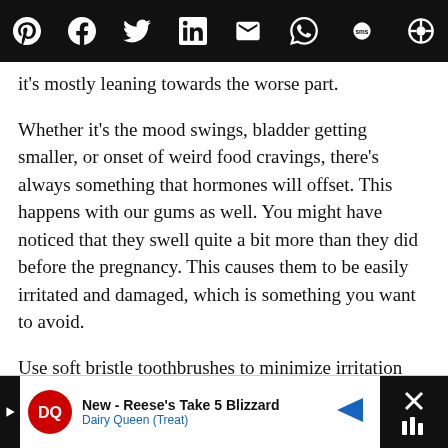[Social share icons bar: Pinterest, Facebook, Twitter, LinkedIn, Email, WhatsApp, SMS, Copy]
it's mostly leaning towards the worse part.
Whether it's the mood swings, bladder getting smaller, or onset of weird food cravings, there's always something that hormones will offset. This happens with our gums as well. You might have noticed that they swell quite a bit more than they did before the pregnancy. This causes them to be easily irritated and damaged, which is something you want to avoid.
Use soft bristle toothbrushes to minimize irritation and keep your gums clean. An
New - Reese's Take 5 Blizzard · Dairy Queen (Treat) [Advertisement]